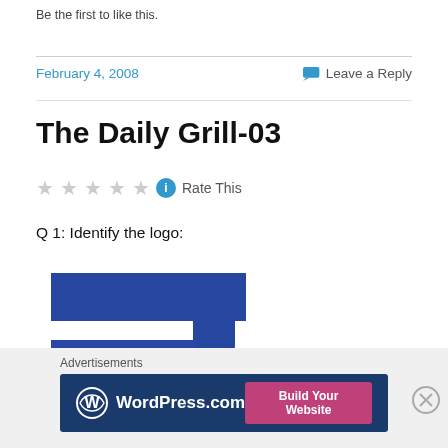Be the first to like this.
February 4, 2008
Leave a Reply
The Daily Grill-03
Rate This
Q 1: Identify the logo:
[Figure (logo): Partial blue logo with two horizontal bar shapes with rounded corners, appearing to be a letter or brand mark in dark blue]
[Figure (infographic): WordPress.com advertisement banner with WordPress logo and 'Build Your Website' button]